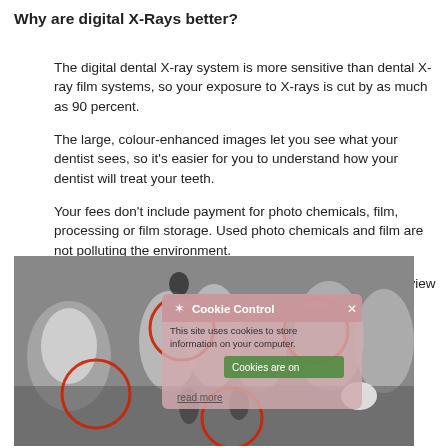Why are digital X-Rays better?
The digital dental X-ray system is more sensitive than dental X-ray film systems, so your exposure to X-rays is cut by as much as 90 percent.
The large, colour-enhanced images let you see what your dentist sees, so it's easier for you to understand how your dentist will treat your teeth.
Your fees don't include payment for photo chemicals, film, processing or film storage. Used photo chemicals and film are not polluting the environment.
Your dental checkups take less time, and it means you can view your images on the computer.
[Figure (photo): Dental X-ray image showing teeth with red circles highlighting areas of interest, overlaid with a semi-transparent 'Cookie Control' browser notification dialog with text 'This site uses cookies to store information on your computer. Cookies are on. read more']